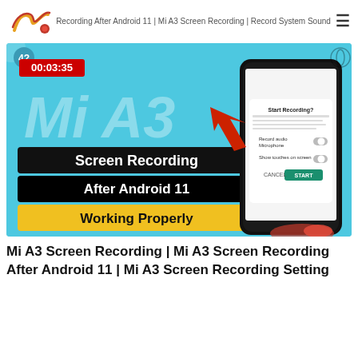Recording After Android 11 | Mi A3 Screen Recording | Record System Sound
[Figure (screenshot): YouTube video thumbnail for Mi A3 Screen Recording After Android 11. Shows a Xiaomi Mi A3 phone with a 'Start Recording?' dialog. Text overlays read: Mi A3 (large italic), Screen Recording, After Android 11, Working Properly. Timer badge shows 00:03:35.]
Mi A3 Screen Recording | Mi A3 Screen Recording After Android 11 | Mi A3 Screen Recording Setting